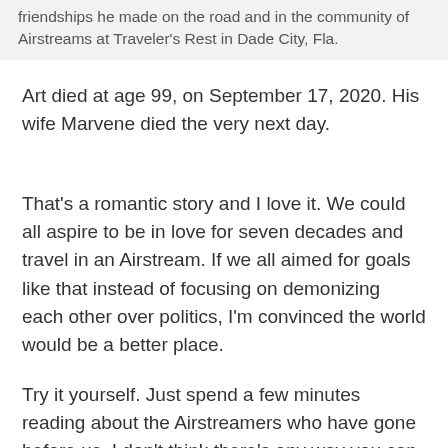friendships he made on the road and in the community of Airstreams at Traveler's Rest in Dade City, Fla.
Art died at age 99, on September 17, 2020. His wife Marvene died the very next day.
That's a romantic story and I love it. We could all aspire to be in love for seven decades and travel in an Airstream. If we all aimed for goals like that instead of focusing on demonizing each other over politics, I'm convinced the world would be a better place.
Try it yourself. Just spend a few minutes reading about the Airstreamers who have gone before us. I don't think there's any way you can do that and not realize that whatever happens today, there are more important